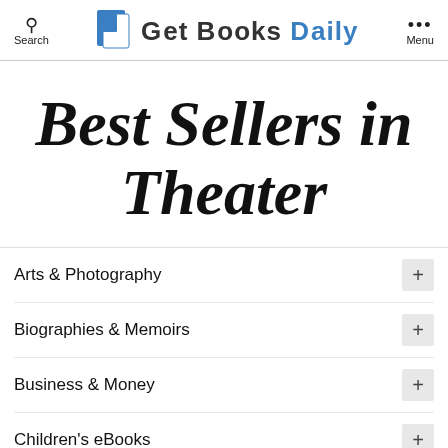Search | Get Books Daily | Menu
Best Sellers in Theater
Arts & Photography
Biographies & Memoirs
Business & Money
Children's eBooks